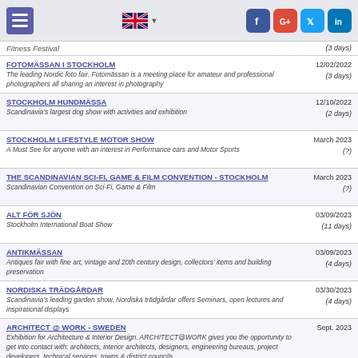Navigation header with hamburger menu, UK flag language selector, and social media icons (Facebook, Google+, Twitter, LinkedIn)
Fitness Festival — (3 days)
FOTOMÄSSAN I STOCKHOLM — 12/02/2022 (3 days) — The leading Nordic foto fair. Fotomässan is a meeting place for amateur and professional photographers all sharing an interest in photography
STOCKHOLM HUNDMÄSSA — 12/10/2022 (2 days) — Scandinavia's largest dog show with activities and exhibition
STOCKHOLM LIFESTYLE MOTOR SHOW — March 2023 (?) — A Must See for anyone with an interest in Performance cars and Motor Sports
THE SCANDINAVIAN SCI-FI, GAME & FILM CONVENTION - STOCKHOLM — March 2023 (?) — Scandinavian Convention on Sci-Fi, Game & Film
ALT FÖR SJÖN — 03/09/2023 (11 days) — Stockholm International Boat Show
ANTIKMÄSSAN — 03/09/2023 (4 days) — Antiques fair with fine art, vintage and 20th century design, collectors' items and building preservation
NORDISKA TRÄDGÅRDAR — 03/30/2023 (4 days) — Scandinavia's leading garden show. Nordiska trädgårdar offers Seminars, open lectures and inspirational displays
ARCHITECT @ WORK - SWEDEN — Sept. 2023 — Exhibition for Architecture & Interior Design. ARCHITECT@WORK gives you the opportunity to get into contact with: architects, interior architects, designers, engineering bureaus, project developers, technical services, towns & district councils
SECTECH SWEDEN — 10/24/2023 (2 days) — The meeting point for suppliers, installers, consultants and end user